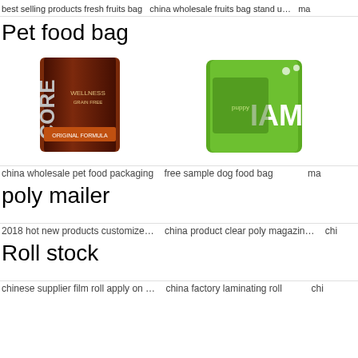best selling products fresh fruits bag  china wholesale fruits bag stand u…  ma
Pet food bag
[Figure (photo): Two pet food bags: Wellness CORE Grain Free dog food (dark brown bag) and IAMS dog food (green bag)]
china wholesale pet food packaging   free sample dog food bag            ma
poly mailer
2018 hot new products customize…   china product clear poly magazin…   chi
Roll stock
chinese supplier film roll apply on …   china factory laminating roll          chi